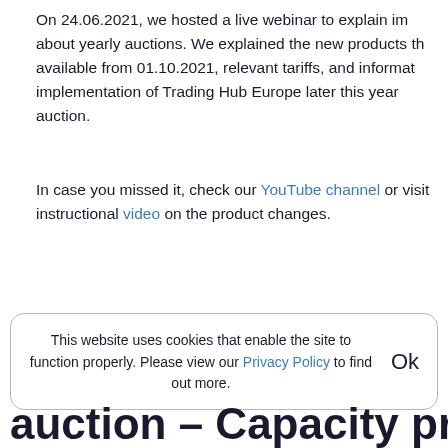On 24.06.2021, we hosted a live webinar to explain im about yearly auctions. We explained the new products th available from 01.10.2021, relevant tariffs, and informat implementation of Trading Hub Europe later this year auction.
In case you missed it, check our YouTube channel or visit instructional video on the product changes.
10.06.2021
This website uses cookies that enable the site to function properly. Please view our Privacy Policy to find out more. Ok
auction – Capacity produ